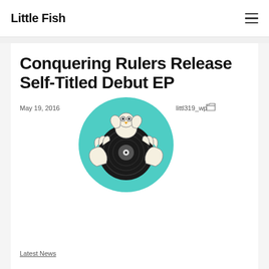Little Fish
Conquering Rulers Release Self-Titled Debut EP
May 19, 2016
[Figure (illustration): Circular teal/aqua background illustration featuring a vinyl record being held by cartoon hands, with a cartoon bird or creature on top.]
littl319_wp
Latest News